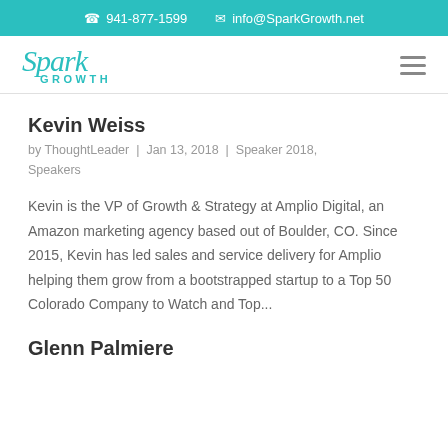941-877-1599  info@SparkGrowth.net
[Figure (logo): Spark Growth logo in teal/turquoise color with cursive 'Spark' and sans-serif 'GROWTH' text]
Kevin Weiss
by ThoughtLeader | Jan 13, 2018 | Speaker 2018, Speakers
Kevin is the VP of Growth & Strategy at Amplio Digital, an Amazon marketing agency based out of Boulder, CO. Since 2015, Kevin has led sales and service delivery for Amplio helping them grow from a bootstrapped startup to a Top 50 Colorado Company to Watch and Top...
Glenn Palmiere